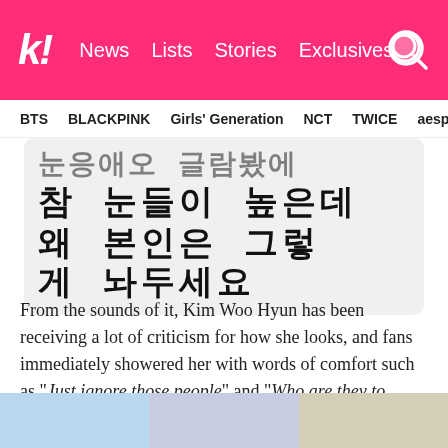k! News  Lists  Stories  Exclusives
BTS  BLACKPINK  Girls' Generation  NCT  TWICE  aespa
[Figure (screenshot): Korean text block with bold hangul characters on light gray rounded background: lines reading partial text then '참 눈들이 높은데' and '왜 본인은 그렇게 놔두세요']
From the sounds of it, Kim Woo Hyun has been receiving a lot of criticism for how she looks, and fans immediately showered her with words of comfort such as "Just ignore those people" and "Who are they to criticize you about your appearance?"
[Figure (photo): Three partially visible photos at the bottom of the page showing people]